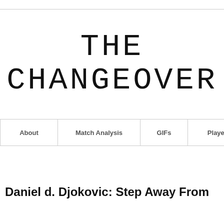THE CHANGEOVER
About | Match Analysis | GIFs | Players | Fe
Daniel d. Djokovic: Step Away From